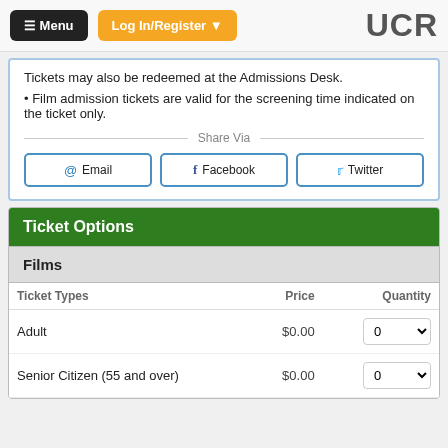≡ Menu   Log In/Register ▾   UCR
Tickets may also be redeemed at the Admissions Desk.
• Film admission tickets are valid for the screening time indicated on the ticket only.
Share Via
@ Email   f Facebook   🐦 Twitter
Ticket Options
| Films |  |  |
| --- | --- | --- |
| Ticket Types | Price | Quantity |
| Adult | $0.00 | 0 |
| Senior Citizen (55 and over) | $0.00 | 0 |